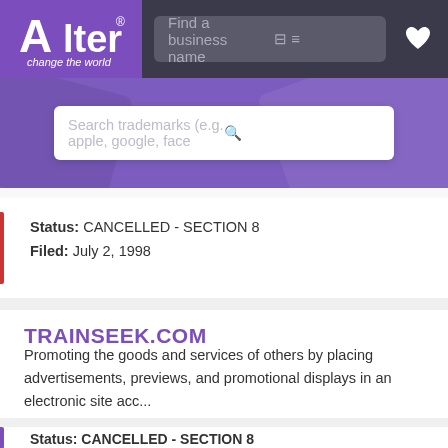[Figure (screenshot): Alter trademark search website header with logo, navigation search bar, and heart icon]
[Figure (screenshot): Purple hero section with trademark search bar containing placeholder text 'Search trademarks (e.g. apple, google, face' and magnifying glass icon]
Status: CANCELLED - SECTION 8
Filed: July 2, 1998
TRAINSEEK.COM
Promoting the goods and services of others by placing advertisements, previews, and promotional displays in an electronic site acc...
Status: CANCELLED - SECTION 8